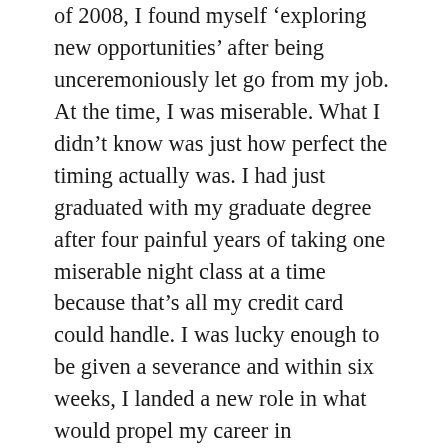of 2008, I found myself 'exploring new opportunities' after being unceremoniously let go from my job. At the time, I was miserable. What I didn't know was just how perfect the timing actually was. I had just graduated with my graduate degree after four painful years of taking one miserable night class at a time because that's all my credit card could handle. I was lucky enough to be given a severance and within six weeks, I landed a new role in what would propel my career in marketing.  It's a scary thing to start all over, but the thing is, it happens all the time and it happens to nearly everyone. Embrace the change. Grow from it. One day, you'll look back on that job and realize what a very small piece of the much bigger picture of your path it was.
Getting over being fired is hard and so is letting go of failing friendships. I find the older I get, though,